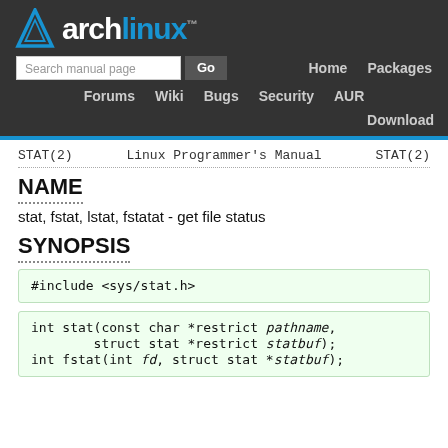Arch Linux - man page header with logo, search, and navigation
STAT(2)   Linux Programmer's Manual   STAT(2)
NAME
stat, fstat, lstat, fstatat - get file status
SYNOPSIS